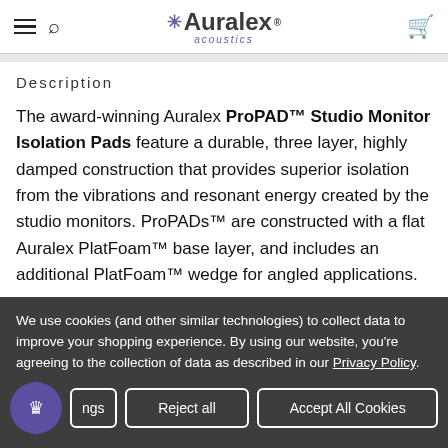Auralex acoustics
Description
The award-winning Auralex ProPAD™ Studio Monitor Isolation Pads feature a durable, three layer, highly damped construction that provides superior isolation from the vibrations and resonant energy created by the studio monitors. ProPADs™ are constructed with a flat Auralex PlatFoam™ base layer, and includes an additional PlatFoam™ wedge for angled applications.
We use cookies (and other similar technologies) to collect data to improve your shopping experience. By using our website, you're agreeing to the collection of data as described in our Privacy Policy.